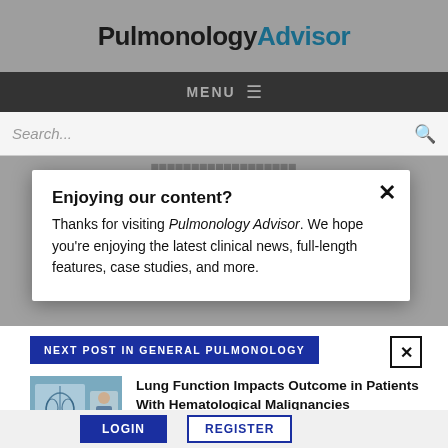PulmonologyAdvisor
MENU ≡
Search...
Enjoying our content?
Thanks for visiting Pulmonology Advisor. We hope you're enjoying the latest clinical news, full-length features, case studies, and more.
NEXT POST IN GENERAL PULMONOLOGY
Lung Function Impacts Outcome in Patients With Hematological Malignancies Undergoing Auto-HSCT
LOGIN   REGISTER